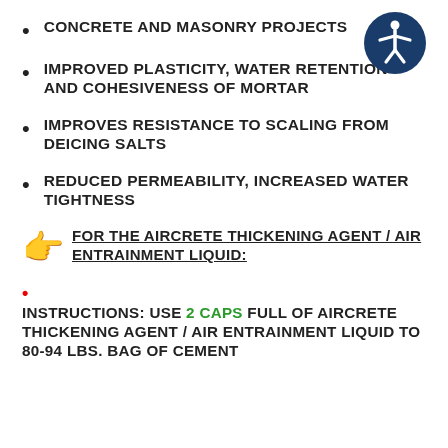CONCRETE AND MASONRY PROJECTS
[Figure (illustration): Accessibility icon: white figure with arms and legs spread inside a dark blue circle]
IMPROVED PLASTICITY, WATER RETENTION AND COHESIVENESS OF MORTAR
IMPROVES RESISTANCE TO SCALING FROM DEICING SALTS
REDUCED PERMEABILITY, INCREASED WATER TIGHTNESS
👉 FOR THE AIRCRETE THICKENING AGENT / AIR ENTRAINMENT LIQUID:
• INSTRUCTIONS: USE 2 CAPS FULL OF AIRCRETE THICKENING AGENT / AIR ENTRAINMENT LIQUID TO 80-94 LBS. BAG OF CEMENT